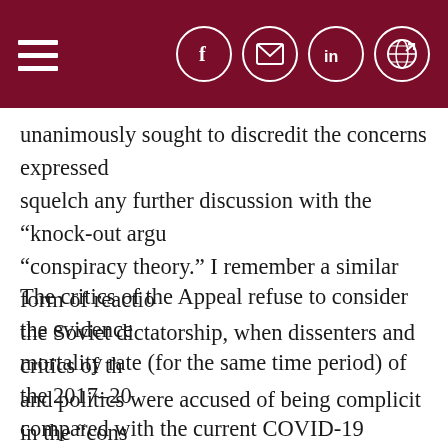Navigation header with hamburger menu and social icons (Facebook, email, LinkedIn, share)
unanimously sought to discredit the concerns expressed and squelch any further discussion with the “knock-out argu… “conspiracy theory.” I remember a similar form of reactio… the Soviet dictatorship, when dissenters and critics of th… and politics were accused of being complicit in the “cons… disseminated by the capitalist West.
The critics of the Appeal refuse to consider the evidence… mortality rate (for the same time period) of the 2017–20… compared with the current COVID-19 epidemic in Germa… of the latter is much lower. There are countries with mo… security and prevention measures that, due to their impl…